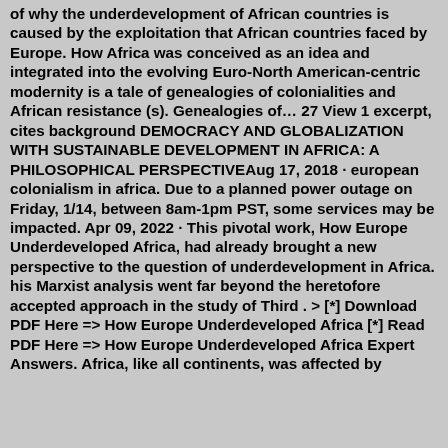of why the underdevelopment of African countries is caused by the exploitation that African countries faced by Europe. How Africa was conceived as an idea and integrated into the evolving Euro-North American-centric modernity is a tale of genealogies of colonialities and African resistance (s). Genealogies of… 27 View 1 excerpt, cites background DEMOCRACY AND GLOBALIZATION WITH SUSTAINABLE DEVELOPMENT IN AFRICA: A PHILOSOPHICAL PERSPECTIVEAug 17, 2018 · european colonialism in africa. Due to a planned power outage on Friday, 1/14, between 8am-1pm PST, some services may be impacted. Apr 09, 2022 · This pivotal work, How Europe Underdeveloped Africa, had already brought a new perspective to the question of underdevelopment in Africa. his Marxist analysis went far beyond the heretofore accepted approach in the study of Third . > [*] Download PDF Here => How Europe Underdeveloped Africa [*] Read PDF Here => How Europe Underdeveloped Africa Expert Answers. Africa, like all continents, was affected by